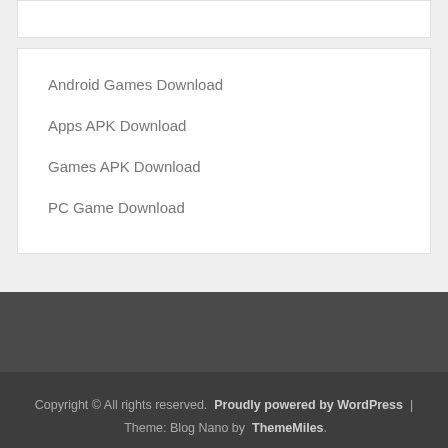Android Games Download
Apps APK Download
Games APK Download
PC Game Download
Copyright © All rights reserved. Proudly powered by WordPress | Theme: Blog Nano by ThemeMiles.